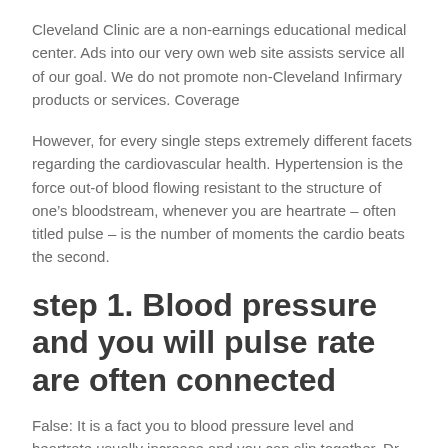Cleveland Clinic are a non-earnings educational medical center. Ads into our very own web site assists service all of our goal. We do not promote non-Cleveland Infirmary products or services. Coverage
However, for every single steps extremely different facets regarding the cardiovascular health. Hypertension is the force out-of blood flowing resistant to the structure of one’s bloodstream, whenever you are heartrate – often titled pulse – is the number of moments the cardio beats the second.
step 1. Blood pressure and you will pulse rate are often connected
False: It is a fact you to blood pressure level and heartrate usually increase and you can slip together, Dr.